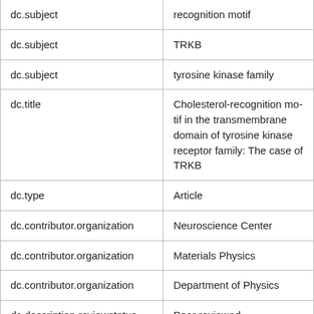| Field | Value |
| --- | --- |
| dc.subject | recognition motif (partial, top cut off) |
| dc.subject | TRKB |
| dc.subject | tyrosine kinase family |
| dc.title | Cholesterol-recognition mo... the transmembrane domain... tyrosine kinase receptor fa... The case of TRKB |
| dc.type | Article |
| dc.contributor.organization | Neuroscience Center |
| dc.contributor.organization | Materials Physics |
| dc.contributor.organization | Department of Physics |
| dc.description.reviewstatus | Peer reviewed |
| dc.relation.doi | https://doi.org/10.1111/ein... |